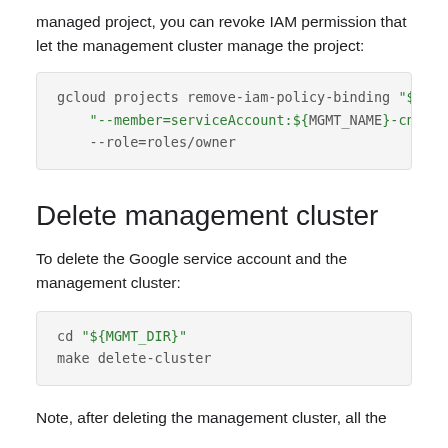managed project, you can revoke IAM permission that let the management cluster manage the project:
[Figure (screenshot): Code block: gcloud projects remove-iam-policy-binding "${KF_..." "--member=serviceAccount:${MGMT_NAME}-cnrm-s... --role=roles/owner]
Delete management cluster
To delete the Google service account and the management cluster:
[Figure (screenshot): Code block: cd "${MGMT_DIR}"
make delete-cluster]
Note, after deleting the management cluster, all the